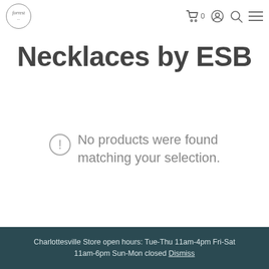Navigation header with logo and icons: cart (0), user, search, menu
Necklaces by ESB
No products were found matching your selection.
Charlottesville Store open hours: Tue-Thu 11am-4pm Fri-Sat 11am-6pm Sun-Mon closed Dismiss